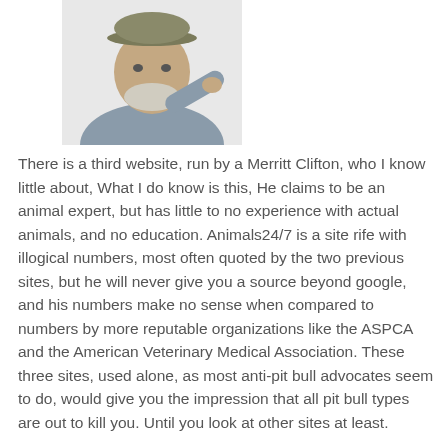[Figure (photo): An older man with a gray beard wearing a tan cap and gray shirt, pointing his finger toward the camera.]
There is a third website, run by a Merritt Clifton, who I know little about, What I do know is this, He claims to be an animal expert, but has little to no experience with actual animals, and no education. Animals24/7 is a site rife with illogical numbers, most often quoted by the two previous sites, but he will never give you a source beyond google, and his numbers make no sense when compared to numbers by more reputable organizations like the ASPCA and the American Veterinary Medical Association. These three sites, used alone, as most anti-pit bull advocates seem to do, would give you the impression that all pit bull types are out to kill you. Until you look at other sites at least.